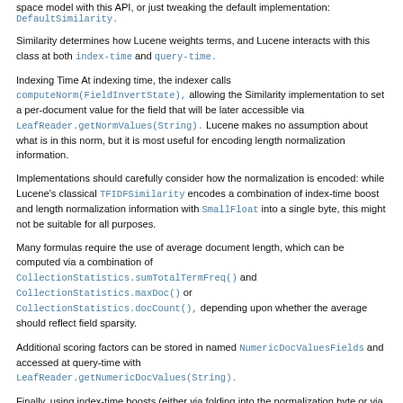space model with this API, or just tweaking the default implementation: DefaultSimilarity.
Similarity determines how Lucene weights terms, and Lucene interacts with this class at both index-time and query-time.
Indexing Time At indexing time, the indexer calls computeNorm(FieldInvertState), allowing the Similarity implementation to set a per-document value for the field that will be later accessible via LeafReader.getNormValues(String). Lucene makes no assumption about what is in this norm, but it is most useful for encoding length normalization information.
Implementations should carefully consider how the normalization is encoded: while Lucene's classical TFIDFSimilarity encodes a combination of index-time boost and length normalization information with SmallFloat into a single byte, this might not be suitable for all purposes.
Many formulas require the use of average document length, which can be computed via a combination of CollectionStatistics.sumTotalTermFreq() and CollectionStatistics.maxDoc() or CollectionStatistics.docCount(), depending upon whether the average should reflect field sparsity.
Additional scoring factors can be stored in named NumericDocValuesFields and accessed at query-time with LeafReader.getNumericDocValues(String).
Finally, using index-time boosts (either via folding into the normalization byte or via DocValues), is an inefficient way to boost the scores of different fields if the boost will be the same for every field, instead the Similarity can simply take a constant boost parameter C, and